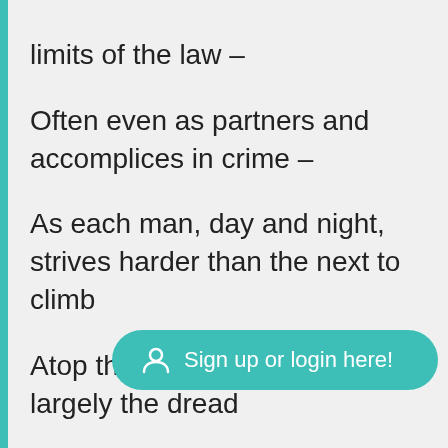limits of the law –
Often even as partners and accomplices in crime –
As each man, day and night, strives harder than the next to climb
Atop the pyramid of power. It is largely the dread
Of death on which these open wounds of life thrive and are fed,
For Vile Disgrace and Bitter Want seem so far fro...
Of a sweet, esta...
almost loiter at Death's gate
[Figure (other): Teal rounded button overlay with person/user icon and text 'Sign up or login here!']